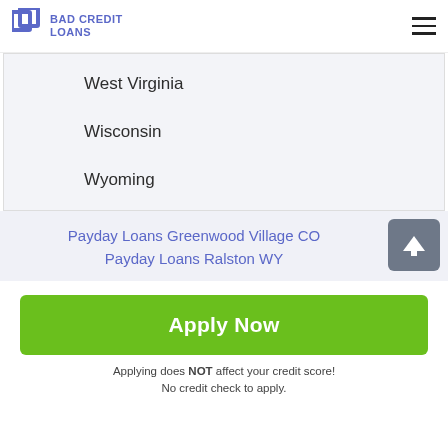BAD CREDIT LOANS
West Virginia
Wisconsin
Wyoming
Payday Loans Greenwood Village CO
Payday Loans Ralston WY
Apply Now
Applying does NOT affect your credit score! No credit check to apply.